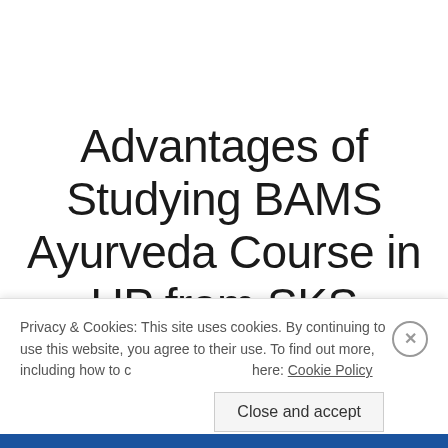Advantages of Studying BAMS Ayurveda Course in UP from SKS
SKS Ayurvedic College is the top ranking
Privacy & Cookies: This site uses cookies. By continuing to use this website, you agree to their use. To find out more, including how to control cookies, see here: Cookie Policy